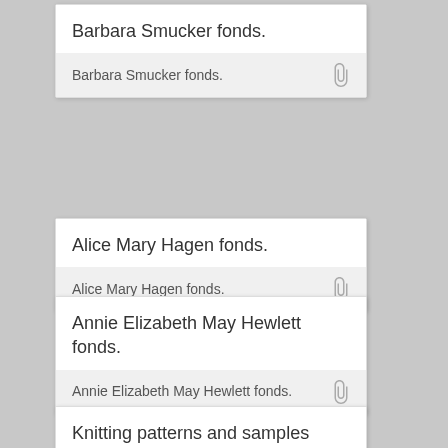Barbara Smucker fonds.
Barbara Smucker fonds.
Alice Mary Hagen fonds.
Alice Mary Hagen fonds.
Annie Elizabeth May Hewlett fonds.
Annie Elizabeth May Hewlett fonds.
Knitting patterns and samples scrapbook.
Knitting patterns and